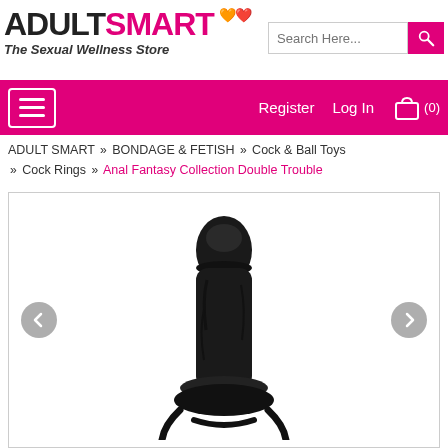ADULT SMART - The Sexual Wellness Store
ADULT SMART » BONDAGE & FETISH » Cock & Ball Toys » Cock Rings » Anal Fantasy Collection Double Trouble
[Figure (photo): Product photo of a black adult toy (dildo with cock ring) against a white background, with left and right navigation arrows on either side.]